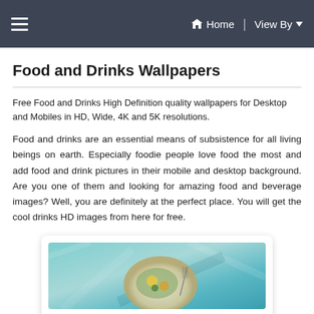≡   🏠 Home   View By ▾
Food and Drinks Wallpapers
Free Food and Drinks High Definition quality wallpapers for Desktop and Mobiles in HD, Wide, 4K and 5K resolutions.
Food and drinks are an essential means of subsistence for all living beings on earth. Especially foodie people love food the most and add food and drink pictures in their mobile and desktop background. Are you one of them and looking for amazing food and beverage images? Well, you are definitely at the perfect place. You will get the cool drinks HD images from here for free.
[Figure (photo): A food/drink themed photograph showing a plate of food with a fork on a teal/blue textured background, displayed inside a white card with rounded corners and a subtle shadow.]